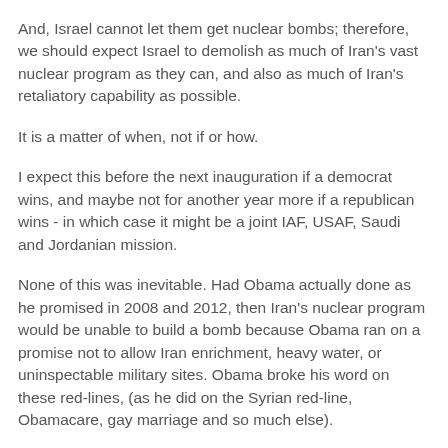And, Israel cannot let them get nuclear bombs; therefore, we should expect Israel to demolish as much of Iran's vast nuclear program as they can, and also as much of Iran's retaliatory capability as possible.
It is a matter of when, not if or how.
I expect this before the next inauguration if a democrat wins, and maybe not for another year more if a republican wins - in which case it might be a joint IAF, USAF, Saudi and Jordanian mission.
None of this was inevitable. Had Obama actually done as he promised in 2008 and 2012, then Iran's nuclear program would be unable to build a bomb because Obama ran on a promise not to allow Iran enrichment, heavy water, or uninspectable military sites. Obama broke his word on these red-lines, (as he did on the Syrian red-line, Obamacare, gay marriage and so much else).
Nothing defines Obama more than his deceitfulness - except